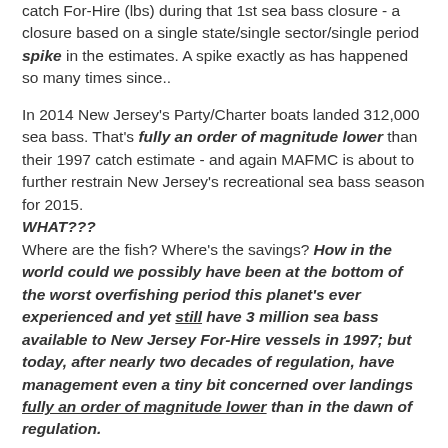catch For-Hire (lbs) during that 1st sea bass closure - a closure based on a single state/single sector/single period spike in the estimates. A spike exactly as has happened so many times since..
In 2014 New Jersey's Party/Charter boats landed 312,000 sea bass. That's fully an order of magnitude lower than their 1997 catch estimate - and again MAFMC is about to further restrain New Jersey's recreational sea bass season for 2015.
WHAT???
Where are the fish? Where's the savings? How in the world could we possibly have been at the bottom of the worst overfishing period this planet's ever experienced and yet still have 3 million sea bass available to New Jersey For-Hire vessels in 1997; but today, after nearly two decades of regulation, have management even a tiny bit concerned over landings fully an order of magnitude lower than in the dawn of regulation.
That's just bizarre. Something's very, very wrong here.
It's absolutely because spawning production has tapered...